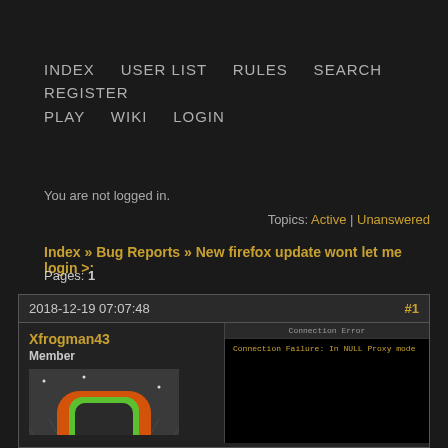INDEX   USER LIST   RULES   SEARCH   REGISTER
PLAY   WIKI   LOGIN
You are not logged in.
Topics: Active | Unanswered
Index » Bug Reports » New firefox update wont let me login >:
Pages: 1
2018-12-19 07:07:48   #1
Xfrogman43
Member
[Figure (screenshot): User avatar image showing a character named Xfrogman43 with orange and green styling, and a screenshot of an error message in the post area]